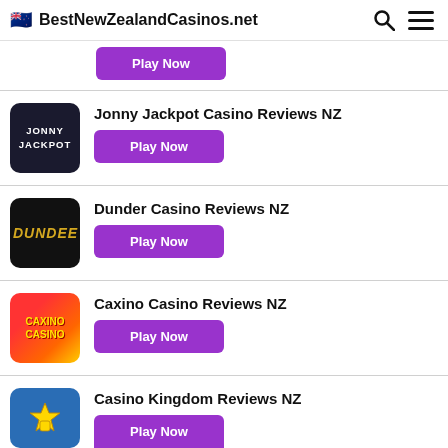BestNewZealandCasinos.net
Play Now
Jonny Jackpot Casino Reviews NZ
Play Now
Dunder Casino Reviews NZ
Play Now
Caxino Casino Reviews NZ
Play Now
Casino Kingdom Reviews NZ
Play Now